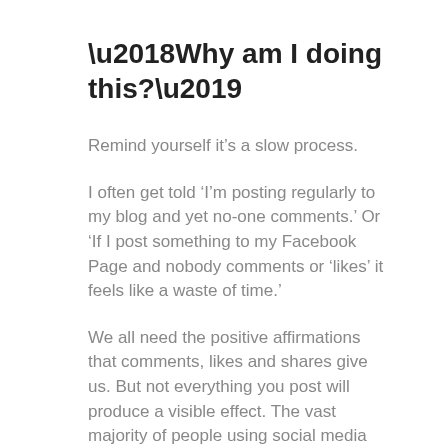‘Why am I doing this?’
Remind yourself it’s a slow process.
I often get told ‘I’m posting regularly to my blog and yet no-one comments.’ Or ‘If I post something to my Facebook Page and nobody comments or ‘likes’ it feels like a waste of time.’
We all need the positive affirmations that comments, likes and shares give us. But not everything you post will produce a visible effect. The vast majority of people using social media only comment on a tiny fraction of the updates they read, only read a fraction of what they see, and only see a fraction of what gets posted. It’s a big old iceberg out there, and it’s growing bigger all the time.